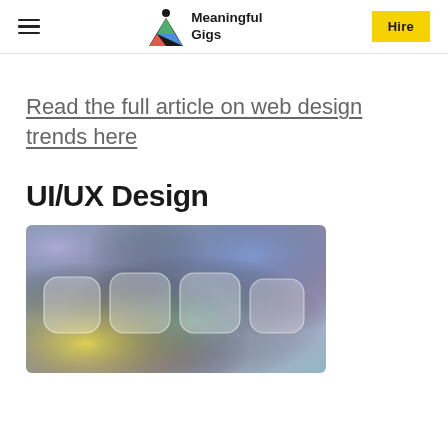Meaningful Gigs — navigation header with hamburger menu and Hire button
Read the full article on web design trends here
UI/UX Design
[Figure (illustration): Colorful gradient image with purple, blue, teal and yellow hues featuring frosted glass rounded rectangle cards arranged in a row]